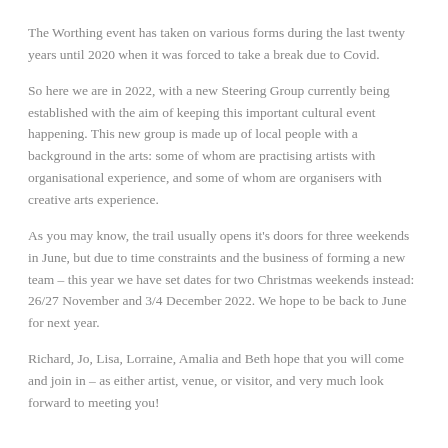The Worthing event has taken on various forms during the last twenty years until 2020 when it was forced to take a break due to Covid.
So here we are in 2022, with a new Steering Group currently being established with the aim of keeping this important cultural event happening. This new group is made up of local people with a background in the arts: some of whom are practising artists with organisational experience, and some of whom are organisers with creative arts experience.
As you may know, the trail usually opens it's doors for three weekends in June, but due to time constraints and the business of forming a new team – this year we have set dates for two Christmas weekends instead: 26/27 November and 3/4 December 2022. We hope to be back to June for next year.
Richard, Jo, Lisa, Lorraine, Amalia and Beth hope that you will come and join in – as either artist, venue, or visitor, and very much look forward to meeting you!